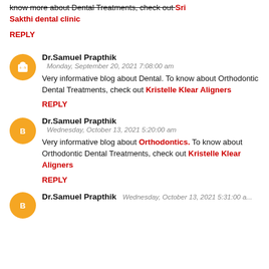know more about Dental Treatments, check out Sri Sakthi dental clinic
REPLY
Dr.Samuel Prapthik
Monday, September 20, 2021 7:08:00 am
Very informative blog about Dental. To know about Orthodontic Dental Treatments, check out Kristelle Klear Aligners
REPLY
Dr.Samuel Prapthik
Wednesday, October 13, 2021 5:20:00 am
Very informative blog about Orthodontics. To know about Orthodontic Dental Treatments, check out Kristelle Klear Aligners
REPLY
Dr.Samuel Prapthik
Wednesday, October 13, 2021 5:31:00 am